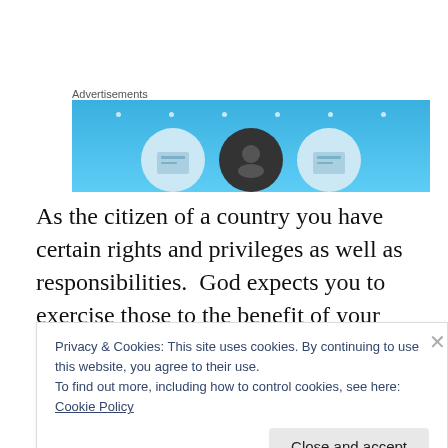Advertisements
[Figure (illustration): Advertisement banner with light blue background, sparkle dots, and three circular icons partially visible at the bottom]
As the citizen of a country you have certain rights and privileges as well as responsibilities.  God expects you to exercise those to the benefit of your own nation and the nations of the world.  Vote and pay taxes are two of these privileges and responsibilities. Never become “so earthly
Privacy & Cookies: This site uses cookies. By continuing to use this website, you agree to their use.
To find out more, including how to control cookies, see here: Cookie Policy
[Figure (screenshot): Bottom bar showing DuckDuckGo branding in red/orange]